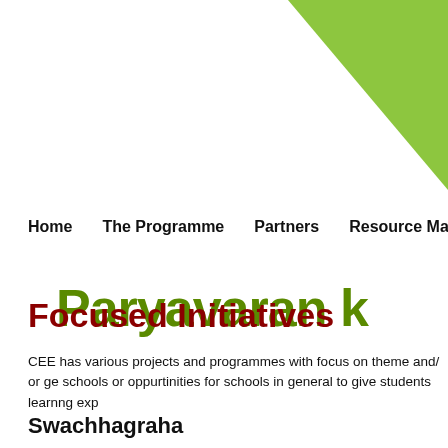[Figure (logo): Green triangle decorative element in top-right corner of the page header]
Paryavaran k...
Home   The Programme   Partners   Resource Material   How to
Focused Initiatives
CEE has various projects and programmes with focus on theme and/ or ge schools or oppurtinities for schools in general to give students learnng exp
Swachhagraha